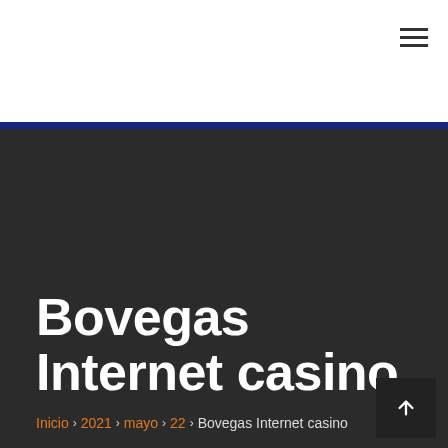☰
Bovegas Internet casino
Inicio › 2021 › mayo › 22 › Bovegas Internet casino